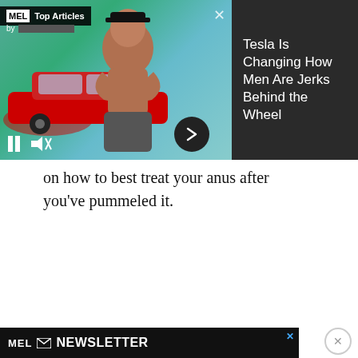[Figure (screenshot): MEL Top Articles video widget showing a shirtless muscular man with arms crossed in front of a red Tesla car, with playback controls and text panel saying 'Tesla Is Changing How Men Are Jerks Behind the Wheel']
on how to best treat your anus after you've pummeled it.
[Figure (screenshot): MEL Newsletter advertisement with black background showing 'MEL NEWSLETTER' text and a black-and-white photo of a cowboy figure]
[Figure (screenshot): Bottom sticky bar: MEL NEWSLETTER with envelope icon and blue X close button]